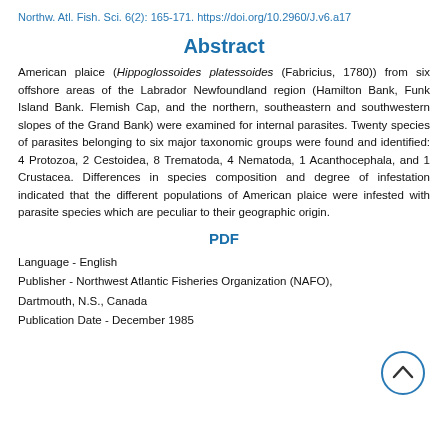Northw. Atl. Fish. Sci. 6(2): 165-171. https://doi.org/10.2960/J.v6.a17
Abstract
American plaice (Hippoglossoides platessoides (Fabricius, 1780)) from six offshore areas of the Labrador Newfoundland region (Hamilton Bank, Funk Island Bank. Flemish Cap, and the northern, southeastern and southwestern slopes of the Grand Bank) were examined for internal parasites. Twenty species of parasites belonging to six major taxonomic groups were found and identified: 4 Protozoa, 2 Cestoidea, 8 Trematoda, 4 Nematoda, 1 Acanthocephala, and 1 Crustacea. Differences in species composition and degree of infestation indicated that the different populations of American plaice were infested with parasite species which are peculiar to their geographic origin.
PDF
Language - English
Publisher - Northwest Atlantic Fisheries Organization (NAFO), Dartmouth, N.S., Canada
Publication Date - December 1985